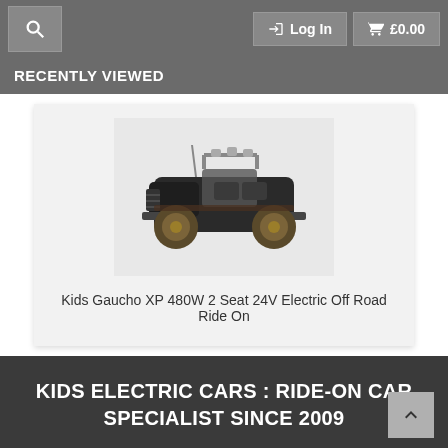Search | Log In | £0.00
RECENTLY VIEWED
[Figure (photo): Kids Gaucho XP ride-on electric off-road jeep, dark colored with large wheels]
Kids Gaucho XP 480W 2 Seat 24V Electric Off Road Ride On
KIDS ELECTRIC CARS : RIDE-ON CAR SPECIALIST SINCE 2009